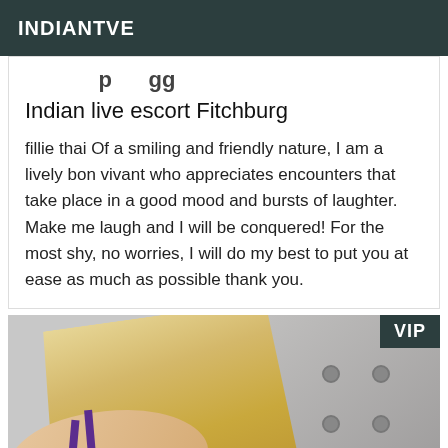INDIANTVE
Indian live escort Fitchburg
fillie thai Of a smiling and friendly nature, I am a lively bon vivant who appreciates encounters that take place in a good mood and bursts of laughter. Make me laugh and I will be conquered! For the most shy, no worries, I will do my best to put you at ease as much as possible thank you.
[Figure (photo): Photograph of a blonde woman in a purple bra viewed from behind, seated on a grey tufted sofa. VIP badge in top right corner.]